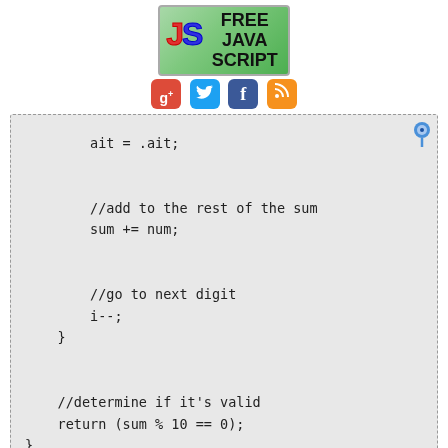[Figure (logo): Free JavaScript logo banner with JS initials in red and blue on green background, with FREE JAVA SCRIPT text]
[Figure (screenshot): Social media icons: Google+, Twitter, Facebook, RSS]
ait = .ait;

//add to the rest of the sum
sum += num;

//go to next digit
i--;
}

//determine if it's valid
return (sum % 10 == 0);
}
This method accepts a string identifier as its argument and returns a Boolean value indicating if the number it represents is valid. The argument is a string to allow easier parsing of each